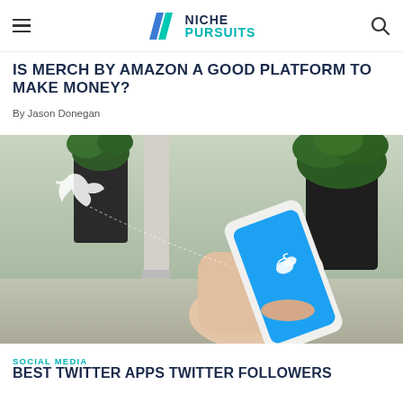NICHE PURSUITS (navigation bar with hamburger menu, logo, and search icon)
IS MERCH BY AMAZON A GOOD PLATFORM TO MAKE MONEY?
By Jason Donegan
[Figure (photo): Person holding a smartphone displaying the Twitter app (blue screen with bird icon), with potted green plants in the background and a Twitter bird icon floating in the upper left. Blurred outdoor/indoor setting.]
SOCIAL MEDIA
BEST TWITTER APPS TWITTER FOLLOWERS (partially visible)